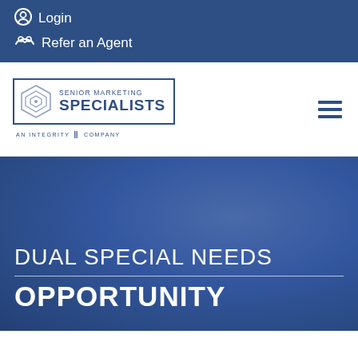Login
Refer an Agent
[Figure (logo): Senior Marketing Specialists logo - an Integrity Company, with geometric diamond/shield emblem in blue outline]
DUAL SPECIAL NEEDS OPPORTUNITY